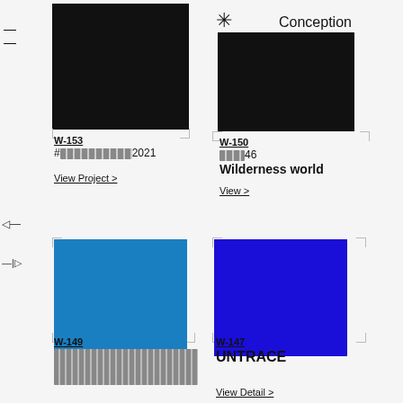[Figure (other): Black rectangle image top left with hamburger menu lines on left side]
[Figure (other): Black rectangle image top right with asterisk icon and Conception label]
Conception
W-153
#[redacted]2021
View Project >
W-150
[redacted]46
Wilderness world
View >
[Figure (other): Blue rectangle image bottom left]
[Figure (other): Dark blue rectangle image bottom right]
W-149
[redacted barcode-style text]
W-147
UNTRACE
View Detail >
TOP >>